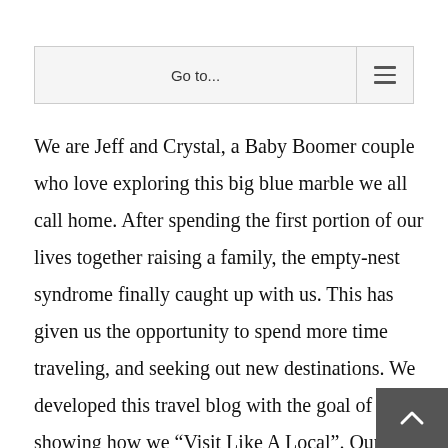Go to...
We are Jeff and Crystal, a Baby Boomer couple who love exploring this big blue marble we all call home. After spending the first portion of our lives together raising a family, the empty-nest syndrome finally caught up with us. This has given us the opportunity to spend more time traveling, and seeking out new destinations. We developed this travel blog with the goal of showing how we “Visit Like A Local”. Our itineraries are designed to get us off the interstates, and into the heart of the places we visit. We believe this will allow our readers to choose a cultural experience and